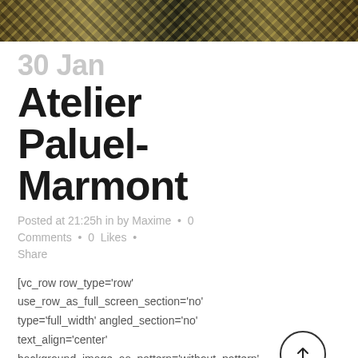[Figure (photo): Decorative botanical/jungle pattern photo strip at top of page showing leaves and stripes in gold, black, and green tones]
30 Jan
Atelier Paluel-Marmont
Posted at 21:25h in by Maxime • 0 Comments • 0 Likes • Share
[vc_row row_type='row' use_row_as_full_screen_section='no' type='full_width' angled_section='no' text_align='center' background_image_as_pattern='without_pattern'